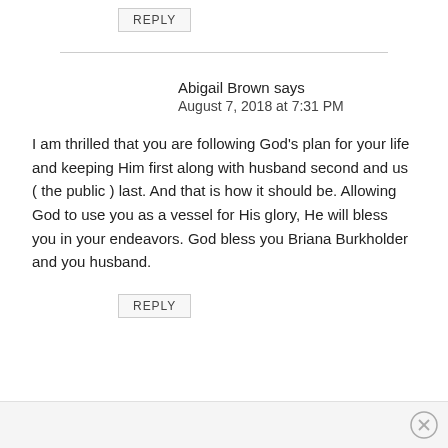REPLY
Abigail Brown says
August 7, 2018 at 7:31 PM
I am thrilled that you are following God's plan for your life and keeping Him first along with husband second and us ( the public ) last. And that is how it should be. Allowing God to use you as a vessel for His glory, He will bless you in your endeavors. God bless you Briana Burkholder and you husband.
REPLY